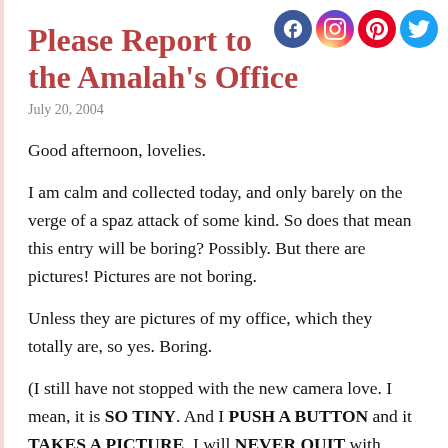[Figure (other): Social media icons: Facebook, Instagram, Pinterest, Twitter — circular colored icons in top right corner]
Please Report to the Amalah's Office
July 20, 2004
Good afternoon, lovelies.
I am calm and collected today, and only barely on the verge of a spaz attack of some kind. So does that mean this entry will be boring? Possibly. But there are pictures! Pictures are not boring.
Unless they are pictures of my office, which they totally are, so yes. Boring.
(I still have not stopped with the new camera love. I mean, it is SO TINY. And I PUSH A BUTTON and it TAKES A PICTURE. I will NEVER QUIT with